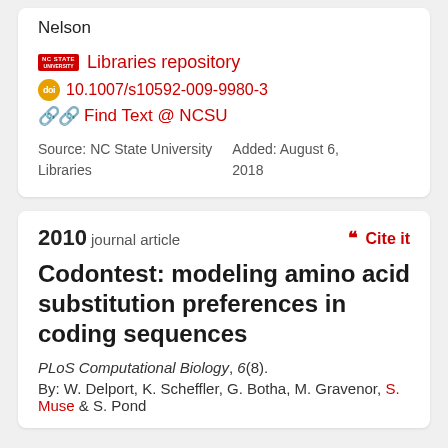Nelson
NC STATE UNIVERSITY Libraries repository
10.1007/s10592-009-9980-3
Find Text @ NCSU
Source: NC State University Libraries
Added: August 6, 2018
2010 journal article
Cite it
Codontest: modeling amino acid substitution preferences in coding sequences
PLoS Computational Biology, 6(8).
By: W. Delport, K. Scheffler, G. Botha, M. Gravenor, S. Muse & S. Pond